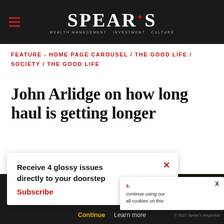SPEAR'S
FEATURE - HOME PAGE CAROUSEL / THE GOOD LIFE / SOCIETY / THE GOOD LIFE
John Arlidge on how long haul is getting longer
17TH APRIL 2019 by SPEAR'S
Receive 4 glossy issues directly to your doorstep Subscribe
continue using our all cookies on this
Continue  Learn more